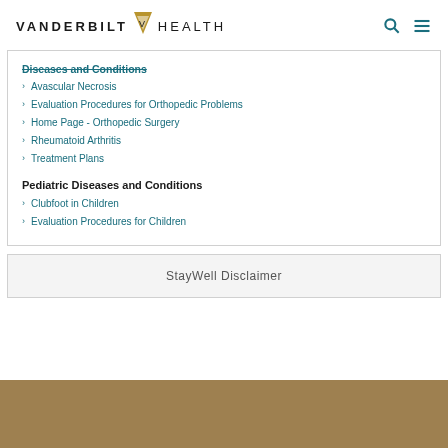VANDERBILT HEALTH
Diseases and Conditions
Avascular Necrosis
Evaluation Procedures for Orthopedic Problems
Home Page - Orthopedic Surgery
Rheumatoid Arthritis
Treatment Plans
Pediatric Diseases and Conditions
Clubfoot in Children
Evaluation Procedures for Children
StayWell Disclaimer